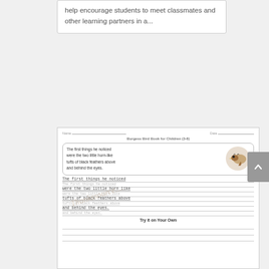help encourage students to meet classmates and other learning partners in a...
[Figure (illustration): A worksheet preview showing 'Burgess Bird Book for Children' handwriting practice page. Contains a text box with the sentence 'The first things he noticed were the two little horn-like tufts of black feathers above and behind the eyes.' next to an illustration of a bird. Below are handwriting practice lines repeating the text, and a 'Try it on Your Own' section with blank lines. A watermark overlays the worksheet.]